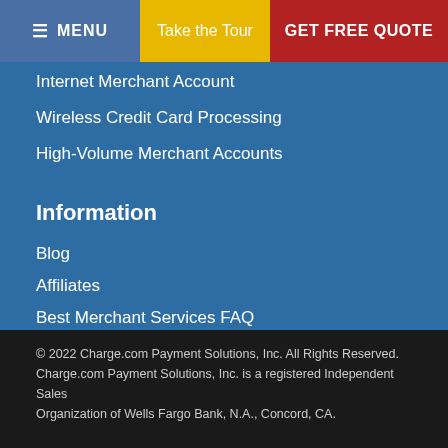MENU | Take the Tour | GET FREE QUOTE
Internet Merchant Account
Wireless Credit Card Processing
High-Volume Merchant Accounts
Information
Blog
Affiliates
Best Merchant Services FAQ
Contact Us
How to Boost Your Sales
Understanding Payment Processing
How Can I Accept Credit Cards Over the Phone?
© 2022 Charge.com Payment Solutions, Inc. All Rights Reserved. Charge.com Payment Solutions, Inc. is a registered Independent Sales Organization of Wells Fargo Bank, N.A., Concord, CA.